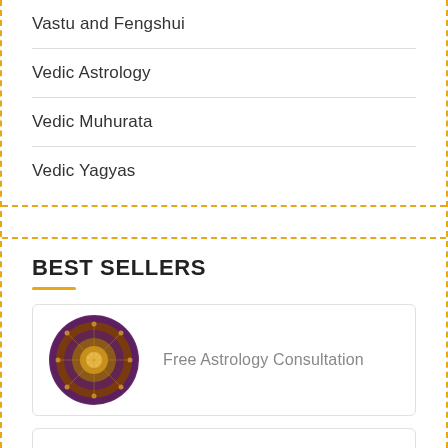Vastu and Fengshui
Vedic Astrology
Vedic Muhurata
Vedic Yagyas
BEST SELLERS
Free Astrology Consultation
Free Gemstone Recommendation